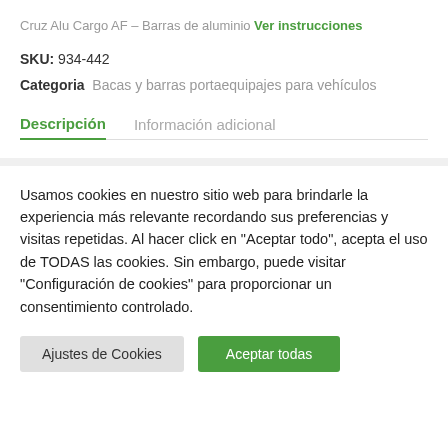Cruz Alu Cargo AF – Barras de aluminio Ver instrucciones
SKU: 934-442
Categoria  Bacas y barras portaequipajes para vehículos
Descripción  Información adicional
Usamos cookies en nuestro sitio web para brindarle la experiencia más relevante recordando sus preferencias y visitas repetidas. Al hacer click en "Aceptar todo", acepta el uso de TODAS las cookies. Sin embargo, puede visitar "Configuración de cookies" para proporcionar un consentimiento controlado.
Ajustes de Cookies | Aceptar todas